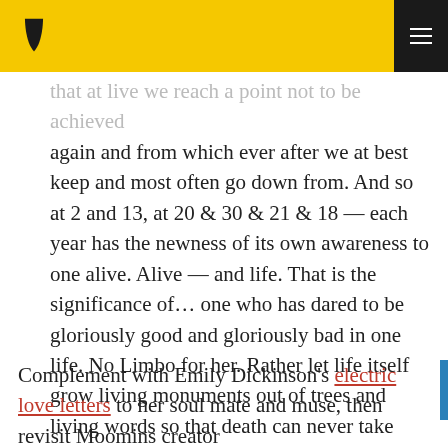[Logo] [Navigation menu]
that at live we reach a point not to be achieved again and from which ever after we at best keep and most often go down from. And so at 2 and 13, at 20 & 30 & 21 & 18 — each year has the newness of its own awareness to one alive. Alive — and life. That is the significance of... one who has dared to be gloriously good and gloriously bad in one life. No Limbo for her. Rather let life itself grow living monuments out of trees and living words so that death can never take from our half-lives this radiant living that was lived among us.
Complement with Emily Dickinson's electric love letters to her soul mate and muse, then revisit Moomins creator